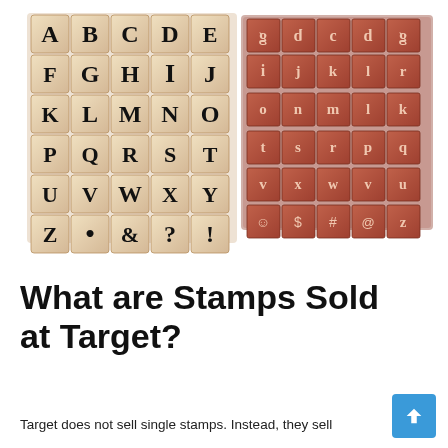[Figure (photo): Two sets of alphabet letter stamps side by side. Left set: wooden blocks with uppercase letters A-Z plus punctuation marks (period, ampersand, question mark, exclamation mark). Right set: square rubber stamps with lowercase letters arranged in a 6x5 grid, rust/terra-cotta colored.]
What are Stamps Sold at Target?
Target does not sell single stamps. Instead, they sell